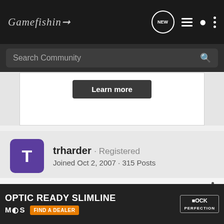Gamefishin
Search Community
Learn more
trharder · Registered
Joined Oct 2, 2007 · 315 Posts
#13 · Jan 22, 2008
Theking seems to know some stuff. I would look that up. Just before I shot
the bastard with a pellet gun or .22 birdshot.
Or nam
[Figure (screenshot): Advertisement banner: OPTIC READY SLIMLINE with MOS and FIND A DEALER button, Glock logo, and gun imagery]